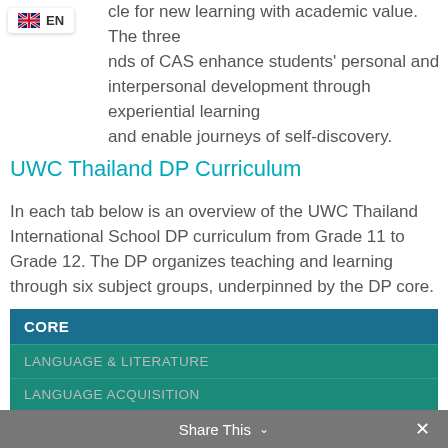[Figure (logo): UK flag icon with EN label language selector badge]
cle for new learning with academic value. The three nds of CAS enhance students' personal and interpersonal development through experiential learning and enable journeys of self-discovery.
UWC Thailand DP Curriculum
In each tab below is an overview of the UWC Thailand International School DP curriculum from Grade 11 to Grade 12. The DP organizes teaching and learning through six subject groups, underpinned by the DP core.
Students choose a course from within each subject group.
| CORE |
| LANGUAGE & LITERATURE |
| LANGUAGE ACQUISITION |
Share This